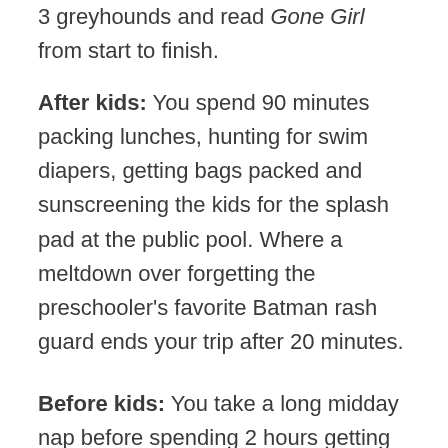3 greyhounds and read Gone Girl from start to finish.
After kids: You spend 90 minutes packing lunches, hunting for swim diapers, getting bags packed and sunscreening the kids for the splash pad at the public pool. Where a meltdown over forgetting the preschooler's favorite Batman rash guard ends your trip after 20 minutes.
Before kids: You take a long midday nap before spending 2 hours getting ready for dinner at the $40-a-plate restaurant you booked in February.
After kids: You get the toddlers down for